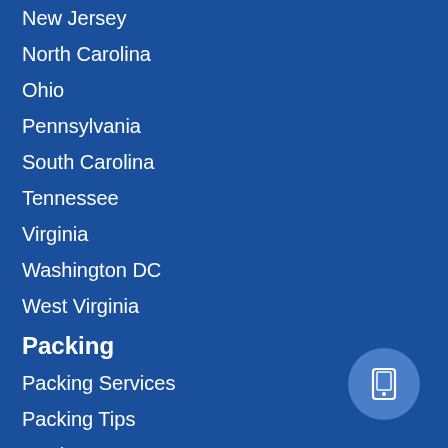New Jersey
North Carolina
Ohio
Pennsylvania
South Carolina
Tennessee
Virginia
Washington DC
West Virginia
Packing
Packing Services
Packing Tips
Moving Boxes
Custom Crates
Labels & Supplies
Storage
Residential